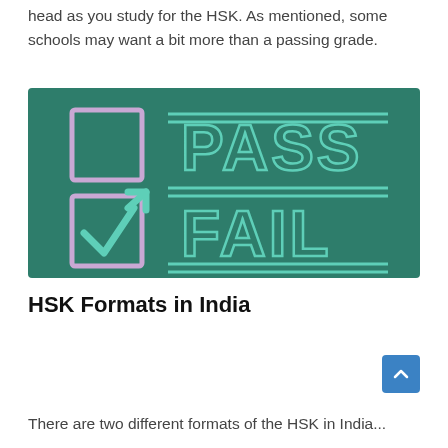head as you study for the HSK. As mentioned, some schools may want a bit more than a passing grade.
[Figure (illustration): A chalkboard-style graphic on a teal/dark green background showing two checkboxes on the left — the top one empty, the bottom one checked with a checkmark and arrow — and the words PASS (top) and FAIL (bottom) in large teal chalk-style letters on the right, separated by horizontal lines.]
HSK Formats in India
There are two different formats of the HSK in India...